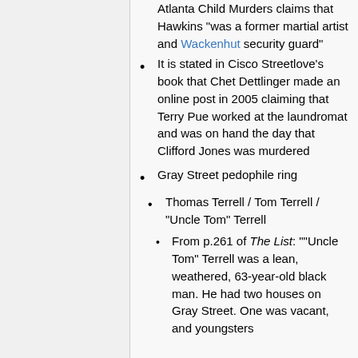Atlanta Child Murders claims that Hawkins "was a former martial artist and Wackenhut security guard"
It is stated in Cisco Streetlove's book that Chet Dettlinger made an online post in 2005 claiming that Terry Pue worked at the laundromat and was on hand the day that Clifford Jones was murdered
Gray Street pedophile ring
Thomas Terrell / Tom Terrell / "Uncle Tom" Terrell
From p.261 of The List: ""Uncle Tom" Terrell was a lean, weathered, 63-year-old black man. He had two houses on Gray Street. One was vacant, and youngsters